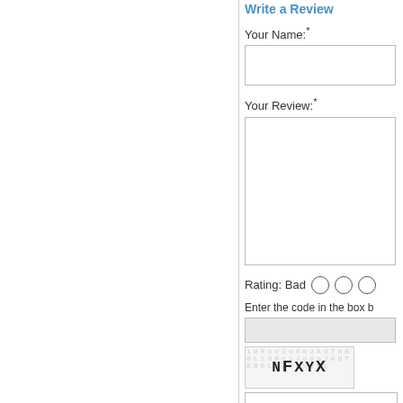Write a Review
Your Name:*
Your Review:*
Rating: Bad
Enter the code in the box b
[Figure (other): CAPTCHA image showing text NFXYX with noise/distortion pattern]
Continue